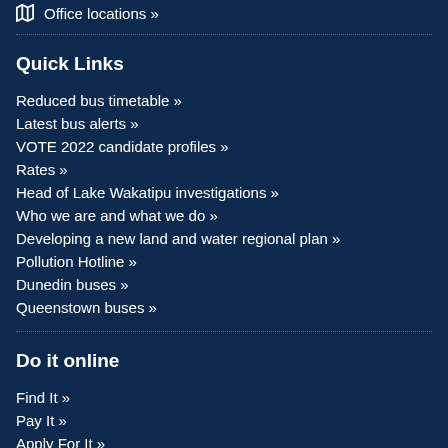Office locations »
Quick Links
Reduced bus timetable »
Latest bus alerts »
VOTE 2022 candidate profiles »
Rates »
Head of Lake Wakatipu investigations »
Who we are and what we do »
Developing a new land and water regional plan »
Pollution Hotline »
Dunedin buses »
Queenstown buses »
Do it online
Find It »
Pay It »
Apply For It »
Report It »